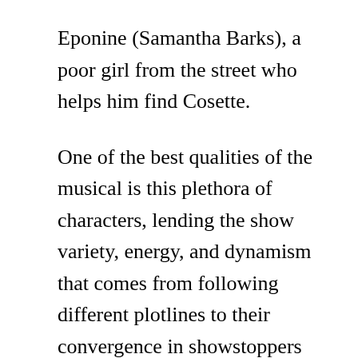Eponine (Samantha Barks), a poor girl from the street who helps him find Cosette.
One of the best qualities of the musical is this plethora of characters, lending the show variety, energy, and dynamism that comes from following different plotlines to their convergence in showstoppers such as “One Day More.” The film, however, does not seem to know what to do with all of the different characters, weighed down in its attempt to fit in all the individuals and their songs. Combined with some of the cast’s apparent inability to sing and act simultaneously, the movie dragged through iconic songs such as “Stars” and “On My Own” as if it were tired of its own one-dimensional existence. By the time Eponine sings “On My Own” we have been beaten